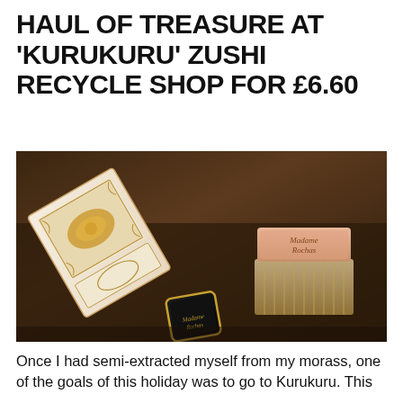HAUL OF TREASURE AT 'KURUKURU' ZUSHI RECYCLE SHOP FOR £6.60
[Figure (photo): Photograph of vintage perfume items on a dark wooden surface: an ornate white and gold decorative box with floral tile pattern open on its side, a pink rectangular soap or perfume block embossed with 'Madame Rochas' script on a ridged glass or crystal base, and a small square black and gold compact or perfume item in the foreground.]
Once I had semi-extracted myself from my morass, one of the goals of this holiday was to go to Kurukuru. This